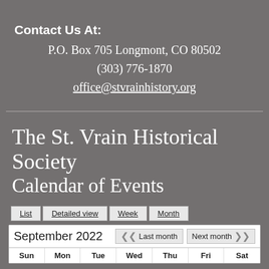Contact Us At:
P.O. Box 705 Longmont, CO 80502
(303) 776-1870
office@stvrainhistory.org
The St. Vrain Historical Society Calendar of Events
[Figure (screenshot): Calendar view tabs: List, Detailed view, Week, Month]
| Sun | Mon | Tue | Wed | Thu | Fri | Sat |
| --- | --- | --- | --- | --- | --- | --- |